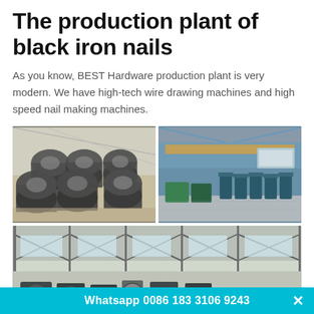The production plant of black iron nails
As you know, BEST Hardware production plant is very modern. We have high-tech wire drawing machines and high speed nail making machines.
[Figure (photo): Two factory photos side by side: left shows coiled wire rods stacked in a warehouse; right shows wire drawing machines in a blue-walled factory.]
[Figure (photo): Interior of a large factory building with steel roof trusses and nail-making machines on the floor.]
Whatsapp 0086 183 3106 9243